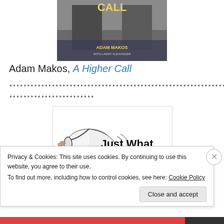[Figure (photo): Book cover of 'A Higher Call' by Adam Makos with Larry Alexander, showing two military officers in uniform]
Adam Makos, A Higher Call
************************************************************************
************************
[Figure (illustration): Book cover illustration showing an ear horn/trumpet with text 'Just What the Doctor']
Privacy & Cookies: This site uses cookies. By continuing to use this website, you agree to their use.
To find out more, including how to control cookies, see here: Cookie Policy
Close and accept